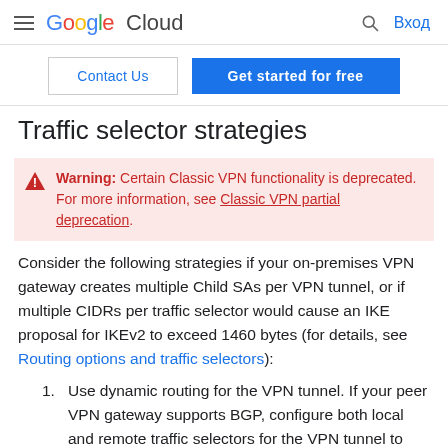Google Cloud — Вход
Contact Us | Get started for free
Traffic selector strategies
Warning: Certain Classic VPN functionality is deprecated. For more information, see Classic VPN partial deprecation.
Consider the following strategies if your on-premises VPN gateway creates multiple Child SAs per VPN tunnel, or if multiple CIDRs per traffic selector would cause an IKE proposal for IKEv2 to exceed 1460 bytes (for details, see Routing options and traffic selectors):
Use dynamic routing for the VPN tunnel. If your peer VPN gateway supports BGP, configure both local and remote traffic selectors for the VPN tunnel to allow